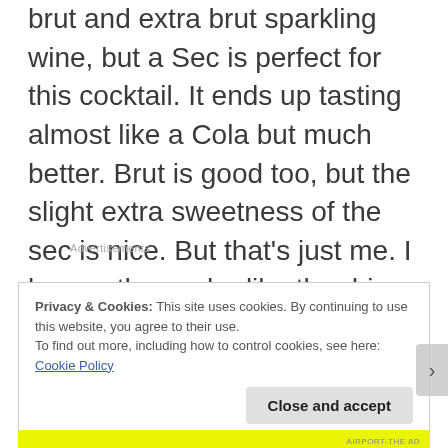brut and extra brut sparkling wine, but a Sec is perfect for this cocktail. It ends up tasting almost like a Cola but much better. Brut is good too, but the slight extra sweetness of the sec is nice. But that's just me. I know others who like the drier taste of the brut better.
Advertisements
Privacy & Cookies: This site uses cookies. By continuing to use this website, you agree to their use.
To find out more, including how to control cookies, see here: Cookie Policy